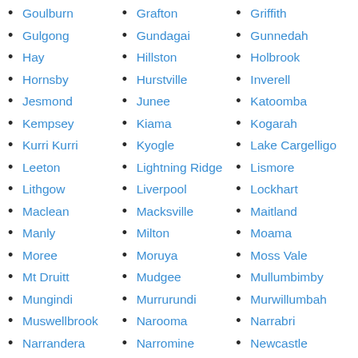Goulburn
Grafton
Griffith
Gulgong
Gundagai
Gunnedah
Hay
Hillston
Holbrook
Hornsby
Hurstville
Inverell
Jesmond
Junee
Katoomba
Kempsey
Kiama
Kogarah
Kurri Kurri
Kyogle
Lake Cargelligo
Leeton
Lightning Ridge
Lismore
Lithgow
Liverpool
Lockhart
Maclean
Macksville
Maitland
Manly
Milton
Moama
Moree
Moruya
Moss Vale
Mt Druitt
Mudgee
Mullumbimby
Mungindi
Murrurundi
Murwillumbah
Muswellbrook
Narooma
Narrabri
Narrandera
Narromine
Newcastle
Newtown
Nowra
Nyngan